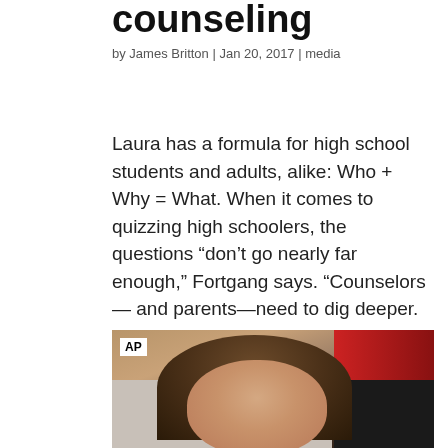counseling
by James Britton | Jan 20, 2017 | media
Laura has a formula for high school students and adults, alike: Who + Why = What. When it comes to quizzing high schoolers, the questions “don’t go nearly far enough,” Fortgang says. “Counselors — and parents—need to dig deeper. We should be asking, ‘Why?’”…
[Figure (photo): AP video screenshot of a woman with brown hair being interviewed, with an AP logo badge in the upper left corner and a red and dark background behind her.]